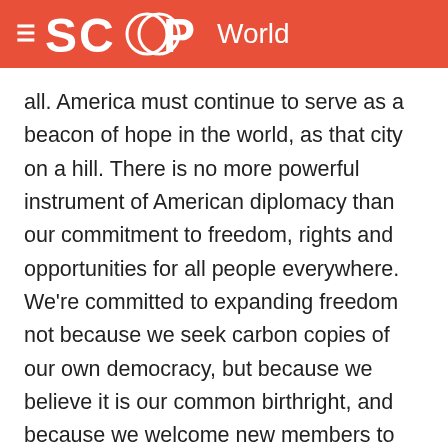SCOOP World
all. America must continue to serve as a beacon of hope in the world, as that city on a hill. There is no more powerful instrument of American diplomacy than our commitment to freedom, rights and opportunities for all people everywhere. We're committed to expanding freedom not because we seek carbon copies of our own democracy, but because we believe it is our common birthright, and because we welcome new members to the community of nations who protect the rights of free speech and assembly, the right to worship freely, the rule of law, and individual opportunity.
As President Bush has said, freedom is not America's